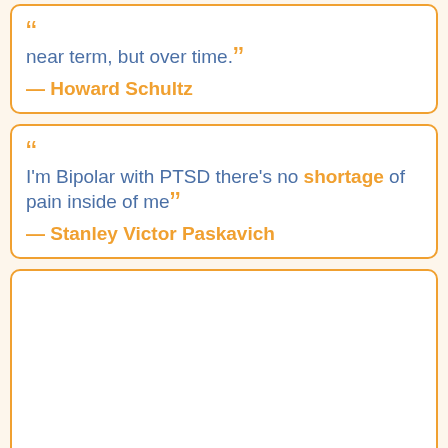“ near term, but over time.” — Howard Schultz
“ I’m Bipolar with PTSD there’s no shortage of pain inside of me ” — Stanley Victor Paskavich